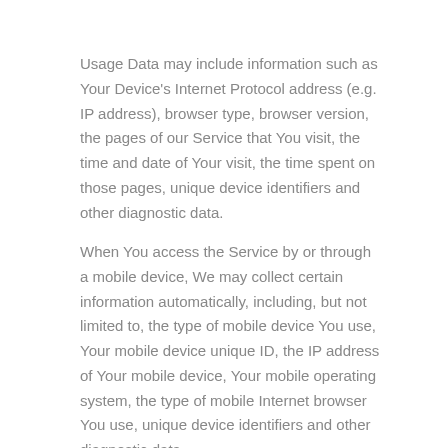Usage Data may include information such as Your Device's Internet Protocol address (e.g. IP address), browser type, browser version, the pages of our Service that You visit, the time and date of Your visit, the time spent on those pages, unique device identifiers and other diagnostic data.
When You access the Service by or through a mobile device, We may collect certain information automatically, including, but not limited to, the type of mobile device You use, Your mobile device unique ID, the IP address of Your mobile device, Your mobile operating system, the type of mobile Internet browser You use, unique device identifiers and other diagnostic data.